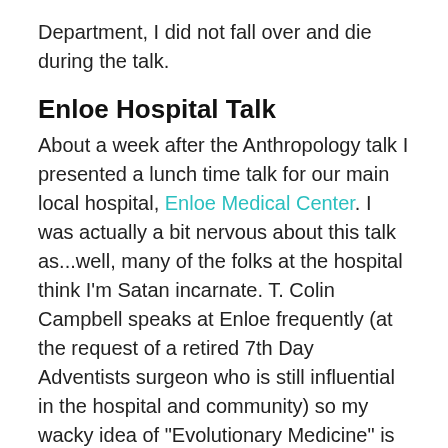Department, I did not fall over and die during the talk.
Enloe Hospital Talk
About a week after the Anthropology talk I presented a lunch time talk for our main local hospital, Enloe Medical Center. I was actually a bit nervous about this talk as...well, many of the folks at the hospital think I'm Satan incarnate. T. Colin Campbell speaks at Enloe frequently (at the request of a retired 7th Day Adventists surgeon who is still influential in the hospital and community) so my wacky idea of "Evolutionary Medicine" is usually filed between blood letting, leeches and reading chicken entrails. I was initially invited to speak to a large group of heart patientss by the Cardio-thoracic